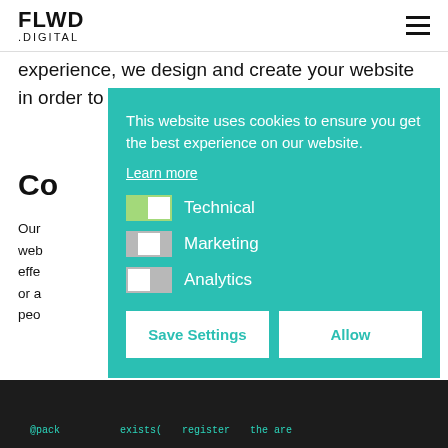FLWD .DIGITAL
experience, we design and create your website in order to turn your visitors into customers.
Co
Our web effe or a peo
[Figure (screenshot): Cookie consent banner overlay on teal/green background with options for Technical, Marketing, Analytics cookies and Save Settings / Allow buttons]
[Figure (photo): Dark background with green code text visible at bottom of page]